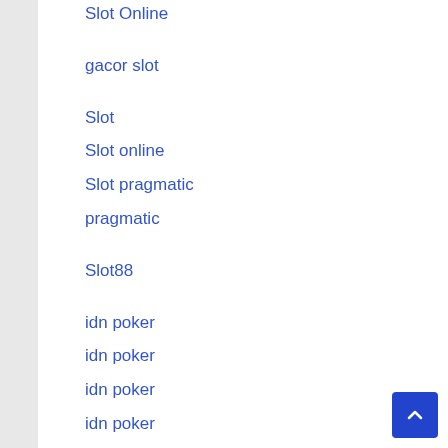Slot Online
gacor slot
Slot
Slot online
Slot pragmatic
pragmatic
Slot88
idn poker
idn poker
idn poker
idn poker
slot online
slot
idn slot